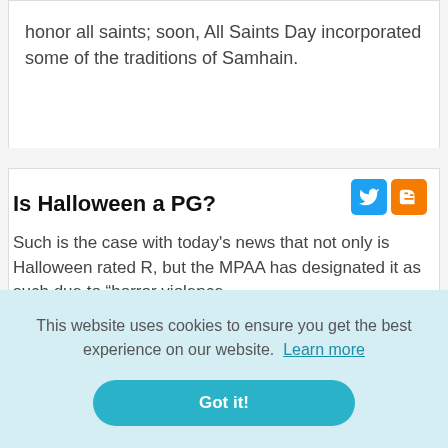honor all saints; soon, All Saints Day incorporated some of the traditions of Samhain.
Is Halloween a PG?
Such is the case with today's news that not only is Halloween rated R, but the MPAA has designated it as such due to “horror violence
This website uses cookies to ensure you get the best experience on our website. Learn more
Got it!